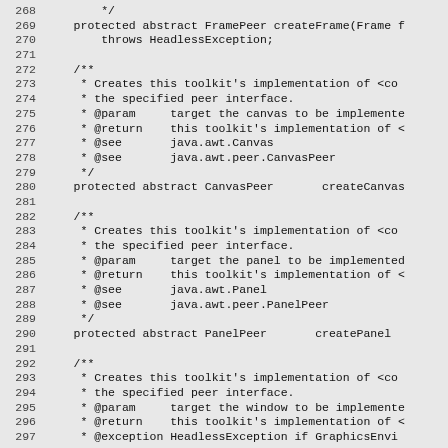268    */
269    protected abstract FramePeer createFrame(Frame f
270        throws HeadlessException;
271
272    /**
273     * Creates this toolkit's implementation of <co
274     * the specified peer interface.
275     * @param     target the canvas to be implemente
276     * @return    this toolkit's implementation of <
277     * @see       java.awt.Canvas
278     * @see       java.awt.peer.CanvasPeer
279     */
280    protected abstract CanvasPeer       createCanvas
281
282    /**
283     * Creates this toolkit's implementation of <co
284     * the specified peer interface.
285     * @param     target the panel to be implemented
286     * @return    this toolkit's implementation of <
287     * @see       java.awt.Panel
288     * @see       java.awt.peer.PanelPeer
289     */
290    protected abstract PanelPeer       createPanel
291
292    /**
293     * Creates this toolkit's implementation of <co
294     * the specified peer interface.
295     * @param     target the window to be implemente
296     * @return    this toolkit's implementation of <
297     * @exception HeadlessException if GraphicsEnvi